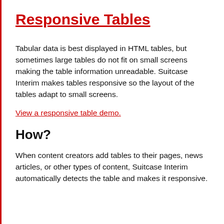Responsive Tables
Tabular data is best displayed in HTML tables, but sometimes large tables do not fit on small screens making the table information unreadable. Suitcase Interim makes tables responsive so the layout of the tables adapt to small screens.
View a responsive table demo.
How?
When content creators add tables to their pages, news articles, or other types of content, Suitcase Interim automatically detects the table and makes it responsive.